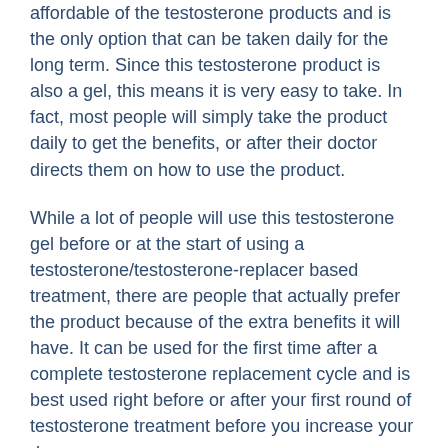affordable of the testosterone products and is the only option that can be taken daily for the long term. Since this testosterone product is also a gel, this means it is very easy to take. In fact, most people will simply take the product daily to get the benefits, or after their doctor directs them on how to use the product.
While a lot of people will use this testosterone gel before or at the start of using a testosterone/testosterone-replacer based treatment, there are people that actually prefer the product because of the extra benefits it will have. It can be used for the first time after a complete testosterone replacement cycle and is best used right before or after your first round of testosterone treatment before you increase your dose.
And while we were looking at